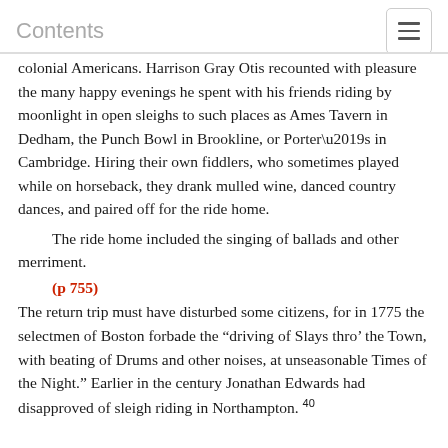Contents
colonial Americans. Harrison Gray Otis recounted with pleasure the many happy evenings he spent with his friends riding by moonlight in open sleighs to such places as Ames Tavern in Dedham, the Punch Bowl in Brookline, or Porter’s in Cambridge. Hiring their own fiddlers, who sometimes played while on horseback, they drank mulled wine, danced country dances, and paired off for the ride home.
The ride home included the singing of ballads and other merriment.
(p 755)
The return trip must have disturbed some citizens, for in 1775 the selectmen of Boston forbade the “driving of Slays thro’ the Town, with beating of Drums and other noises, at unseasonable Times of the Night.” Earlier in the century Jonathan Edwards had disapproved of sleigh riding in Northampton. 40